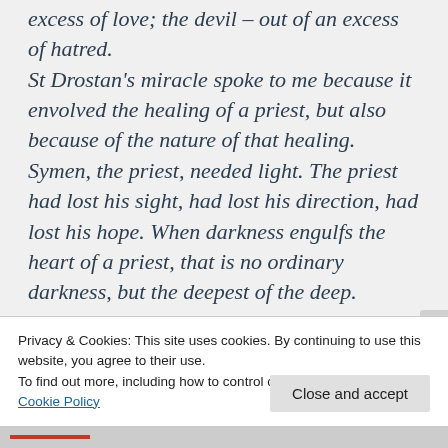excess of love; the devil – out of an excess of hatred. St Drostan's miracle spoke to me because it envolved the healing of a priest, but also because of the nature of that healing. Symen, the priest, needed light. The priest had lost his sight, had lost his direction, had lost his hope. When darkness engulfs the heart of a priest, that is no ordinary darkness, but the deepest of the deep. Symeon, the priest, goes to St Drostan to ask for light, and St Drostan
Privacy & Cookies: This site uses cookies. By continuing to use this website, you agree to their use.
To find out more, including how to control cookies, see here:
Cookie Policy
Close and accept